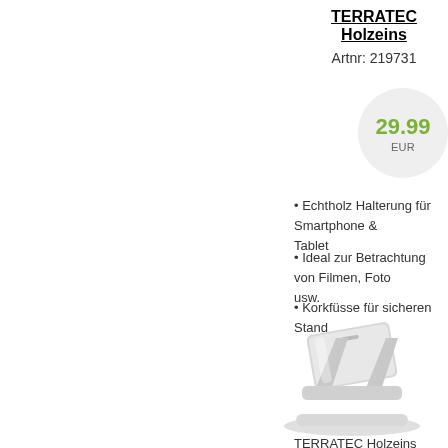TERRATEC Holzeins
Artnr: 219731
29.99 EUR
Echtholz Halterung für Smartphone & Tablet
Ideal zur Betrachtung von Filmen, Foto usw.
Korkfüsse für sicheren Stand
[Figure (photo): Product photo of a silver/aluminum tablet and smartphone stand holder, angled view showing the stand structure and base]
TERRATEC Holzeins